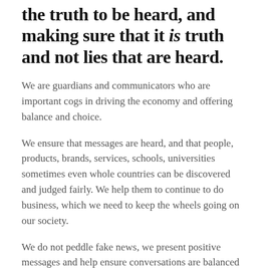the truth to be heard, and making sure that it is truth and not lies that are heard.
We are guardians and communicators who are important cogs in driving the economy and offering balance and choice.
We ensure that messages are heard, and that people, products, brands, services, schools, universities sometimes even whole countries can be discovered and judged fairly. We help them to continue to do business, which we need to keep the wheels going on our society.
We do not peddle fake news, we present positive messages and help ensure conversations are balanced and fair.